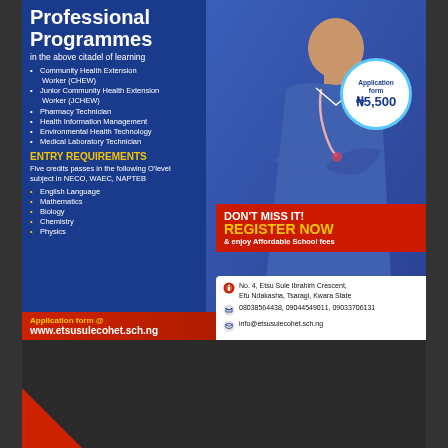Professional Programmes
in the above citadel of learning
Community Health Extension Worker (CHEW)
Junior Community Health Extension Worker (JCHEW)
Pharmacy Technician
Health Information Management
Environmental Health Technology
Medical Laboratory Technician
ENTRY REQUIREMENTS
Five credits passes in the following O'level subject in NECO, WAEC, NAPTEB
English Language
Mathematics
Biology
Chemistry
Physics
Application form @ www.etsusulecohet.sch.ng
[Figure (photo): Healthcare professional in blue scrubs with stethoscope, arms crossed]
Application form ₦5,500
DON'T MISS IT! REGISTER NOW & enjoy Affordable School fees
No. 4, Etsu Sule Ibrahim Crescent, Efu Ndakasha, Tsaragi, Kwara State
08038564438, 09044549011, 09033706131
info@etsusulecohet.sch.ng